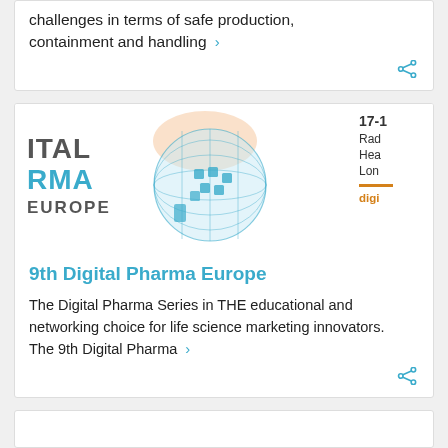challenges in terms of safe production, containment and handling ›
[Figure (logo): Digital Pharma Europe logo with globe graphic, event details: 17-[date], Rad[isson], Hea[lth], Lon[don], digi[talpharmaeurope.com]]
9th Digital Pharma Europe
The Digital Pharma Series in THE educational and networking choice for life science marketing innovators. The 9th Digital Pharma ›